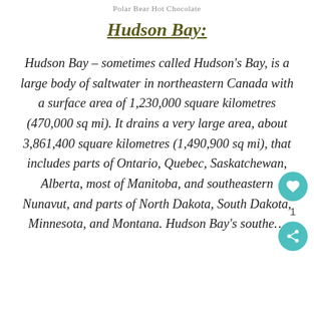Polar Bear Hot Chocolate
Hudson Bay:
Hudson Bay – sometimes called Hudson's Bay, is a large body of saltwater in northeastern Canada with a surface area of 1,230,000 square kilometres (470,000 sq mi). It drains a very large area, about 3,861,400 square kilometres (1,490,900 sq mi), that includes parts of Ontario, Quebec, Saskatchewan, Alberta, most of Manitoba, and southeastern Nunavut, and parts of North Dakota, South Dakota, Minnesota, and Montana. Hudson Bay's southe…